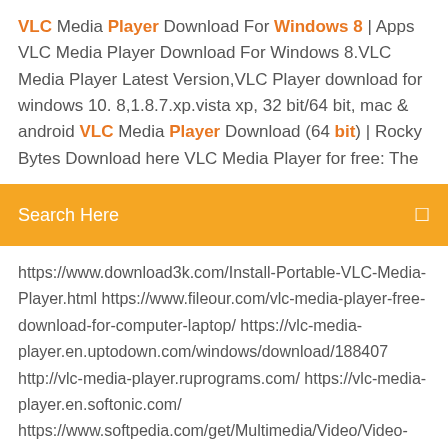VLC Media Player Download For Windows 8 | Apps VLC Media Player Download For Windows 8.VLC Media Player Latest Version,VLC Player download for windows 10. 8,1.8.7.xp.vista xp, 32 bit/64 bit, mac & android VLC Media Player Download (64 bit) | Rocky Bytes Download here VLC Media Player for free: The
Search Here
https://www.download3k.com/Install-Portable-VLC-Media-Player.html https://www.fileour.com/vlc-media-player-free-download-for-computer-laptop/ https://vlc-media-player.en.uptodown.com/windows/download/188407 http://vlc-media-player.ruprograms.com/ https://vlc-media-player.en.softonic.com/ https://www.softpedia.com/get/Multimedia/Video/Video-Players/VideoLAN-Client.shtml https://nearfile.com/multimedia/vlc-media-player-3-0-4-32-bit/